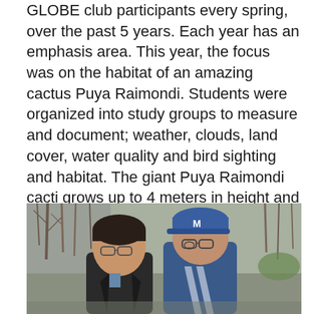GLOBE club participants every spring, over the past 5 years. Each year has an emphasis area. This year, the focus was on the habitat of an amazing cactus Puya Raimondi. Students were organized into study groups to measure and document; weather, clouds, land cover, water quality and bird sighting and habitat. The giant Puya Raimondi cacti grows up to 4 meters in height and are rare and endangered due to habitat loss. The cactus produces flowers once every 80-100 years, and then dies. The flowers provide nectar to a wide variety of birds and insects; including the Giant Hummingbird.  >>
[Figure (photo): Two young men wearing glasses looking down at something, outdoors with bare trees in background. One wears a black jacket, the other a blue sweatshirt and blue baseball cap with letter M.]